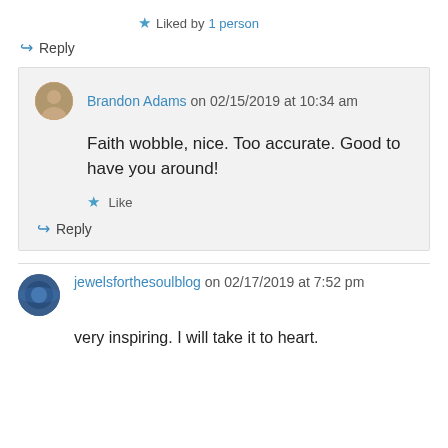★ Liked by 1 person
↪ Reply
Brandon Adams on 02/15/2019 at 10:34 am
Faith wobble, nice. Too accurate. Good to have you around!
★ Like
↪ Reply
jewelsforthesoulblog on 02/17/2019 at 7:52 pm
very inspiring. I will take it to heart.